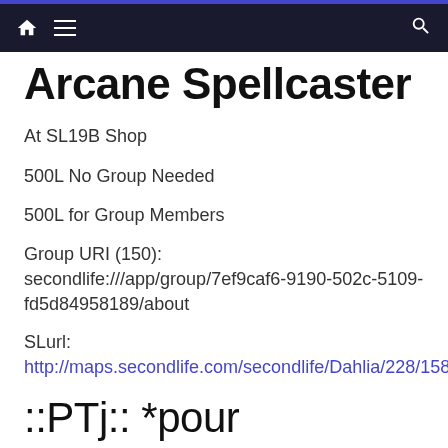Navigation bar with home, menu, and search icons
Arcane Spellcaster
At SL19B Shop
500L No Group Needed
500L for Group Members
Group URI (150): secondlife:///app/group/7ef9caf6-9190-502c-5109-fd5d84958189/about
SLurl:
http://maps.secondlife.com/secondlife/Dahlia/228/158/53
::PTj:: *pour toujours*